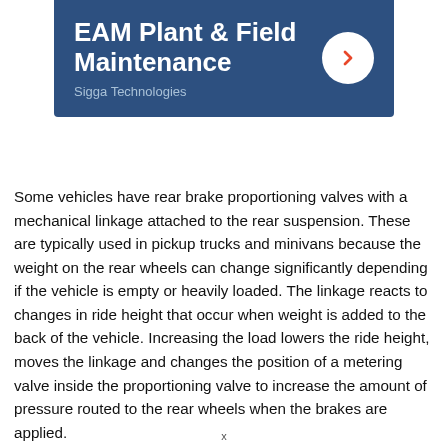[Figure (logo): EAM Plant & Field Maintenance app header banner with dark blue background, title text in white bold, subtitle 'Sigga Technologies' in light blue-grey, and a white circle with orange right-arrow chevron on the right side.]
Some vehicles have rear brake proportioning valves with a mechanical linkage attached to the rear suspension. These are typically used in pickup trucks and minivans because the weight on the rear wheels can change significantly depending if the vehicle is empty or heavily loaded. The linkage reacts to changes in ride height that occur when weight is added to the back of the vehicle. Increasing the load lowers the ride height, moves the linkage and changes the position of a metering valve inside the proportioning valve to increase the amount of pressure routed to the rear wheels when the brakes are applied.
x